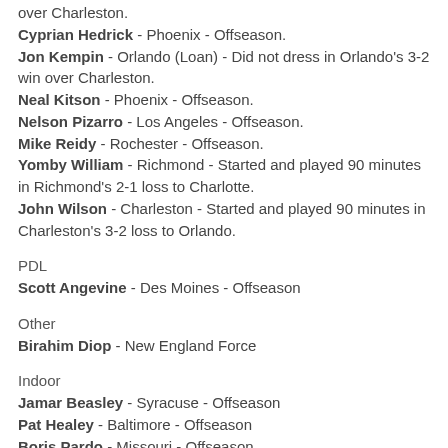over Charleston.
Cyprian Hedrick - Phoenix - Offseason.
Jon Kempin - Orlando (Loan) - Did not dress in Orlando's 3-2 win over Charleston.
Neal Kitson - Phoenix - Offseason.
Nelson Pizarro - Los Angeles - Offseason.
Mike Reidy - Rochester - Offseason.
Yomby William - Richmond - Started and played 90 minutes in Richmond's 2-1 loss to Charlotte.
John Wilson - Charleston - Started and played 90 minutes in Charleston's 3-2 loss to Orlando.
PDL
Scott Angevine - Des Moines - Offseason
Other
Birahim Diop - New England Force
Indoor
Jamar Beasley - Syracuse - Offseason
Pat Healey - Baltimore - Offseason
Boris Pardo - Missouri - Offseason